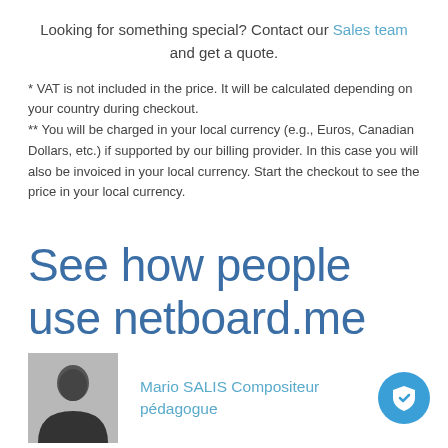Looking for something special? Contact our Sales team and get a quote.
* VAT is not included in the price. It will be calculated depending on your country during checkout.
** You will be charged in your local currency (e.g., Euros, Canadian Dollars, etc.) if supported by our billing provider. In this case you will also be invoiced in your local currency. Start the checkout to see the price in your local currency.
See how people use netboard.me
Mario SALIS Compositeur pédagogue